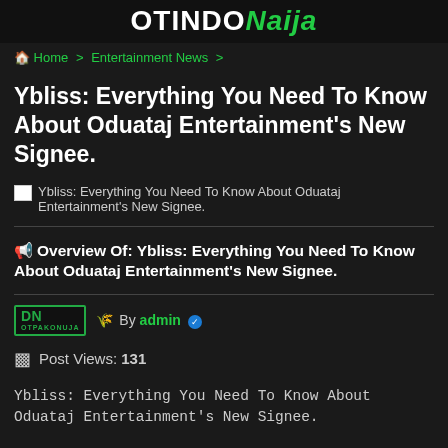OTINDONaija
Home > Entertainment News >
Ybliss: Everything You Need To Know About Oduataj Entertainment's New Signee.
[Figure (photo): Broken image placeholder with alt text: Ybliss: Everything You Need To Know About Oduataj Entertainment's New Signee.]
Overview Of: Ybliss: Everything You Need To Know About Oduataj Entertainment's New Signee.
By admin
Post Views: 131
Ybliss: Everything You Need To Know About Oduataj Entertainment's New Signee.